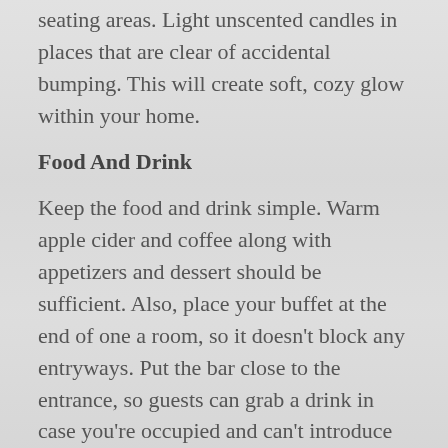seating areas. Light unscented candles in places that are clear of accidental bumping. This will create soft, cozy glow within your home.
Food And Drink
Keep the food and drink simple. Warm apple cider and coffee along with appetizers and dessert should be sufficient. Also, place your buffet at the end of one a room, so it doesn't block any entryways. Put the bar close to the entrance, so guests can grab a drink in case you're occupied and can't introduce them around.
A winter open house is the perfect way to surround yourself with all you favorite people. Or, it can be the best method for highlighting a house